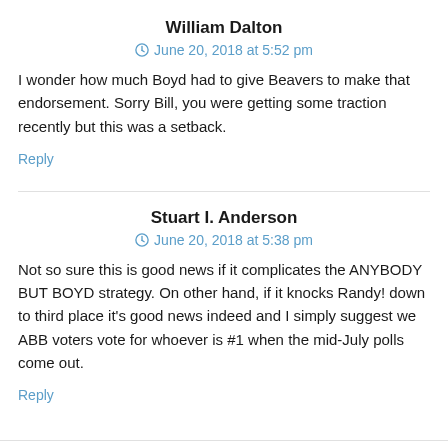William Dalton
June 20, 2018 at 5:52 pm
I wonder how much Boyd had to give Beavers to make that endorsement. Sorry Bill, you were getting some traction recently but this was a setback.
Reply
Stuart I. Anderson
June 20, 2018 at 5:38 pm
Not so sure this is good news if it complicates the ANYBODY BUT BOYD strategy. On other hand, if it knocks Randy! down to third place it's good news indeed and I simply suggest we ABB voters vote for whoever is #1 when the mid-July polls come out.
Reply